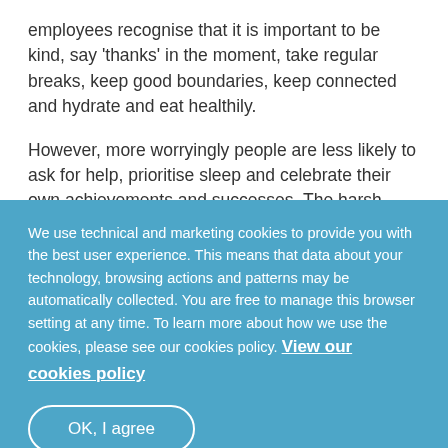employees recognise that it is important to be kind, say 'thanks' in the moment, take regular breaks, keep good boundaries, keep connected and hydrate and eat healthily.
However, more worryingly people are less likely to ask for help, prioritise sleep and celebrate their own achievements and successes. The harsh inner critic has taken over many people has led to more anxiety and depression. She feels managers could take time at the end
We use technical and marketing cookies to provide you with the best user experience. This means that data about your technology, browsing actions and patterns may be automatically collected. You are free to manage this browser setting at any time. To learn more about how we use the cookies, please see our cookies policy. View our cookies policy
OK, I agree